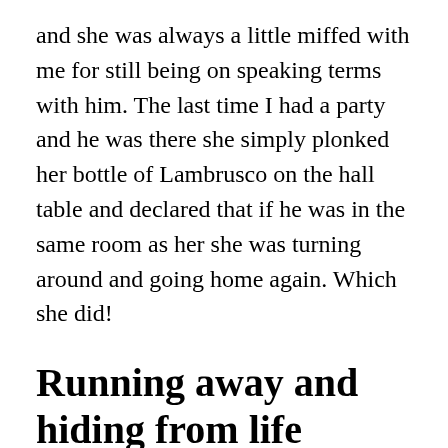and she was always a little miffed with me for still being on speaking terms with him. The last time I had a party and he was there she simply plonked her bottle of Lambrusco on the hall table and declared that if he was in the same room as her she was turning around and going home again. Which she did!
Running away and hiding from life
When she told me that she was moving to the Shetland Islands once she retired I had to admit that I was slightly sceptical. She told me